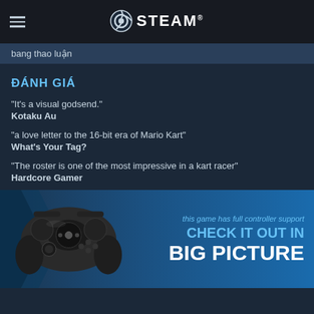STEAM
bang thao luận
ĐÁNH GIÁ
"It's a visual godsend."
Kotaku Au
"a love letter to the 16-bit era of Mario Kart"
What's Your Tag?
"The roster is one of the most impressive in a kart racer"
Hardcore Gamer
[Figure (infographic): Steam controller with 'this game has full controller support' text and 'CHECK IT OUT IN BIG PICTURE' banner]